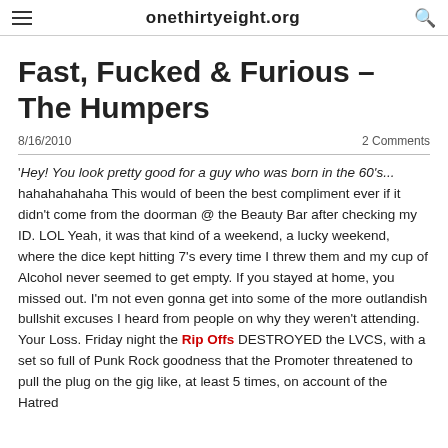onethirtyeight.org
Fast, Fucked & Furious - The Humpers
8/16/2010   2 Comments
'Hey! You look pretty good for a guy who was born in the 60's... hahahahahaha This would of been the best compliment ever if it didn't come from the doorman @ the Beauty Bar after checking my ID. LOL Yeah, it was that kind of a weekend, a lucky weekend, where the dice kept hitting 7's every time I threw them and my cup of Alcohol never seemed to get empty. If you stayed at home, you missed out. I'm not even gonna get into some of the more outlandish bullshit excuses I heard from people on why they weren't attending. Your Loss. Friday night the Rip Offs DESTROYED the LVCS, with a set so full of Punk Rock goodness that the Promoter threatened to pull the plug on the gig like, at least 5 times, on account of the Hatred